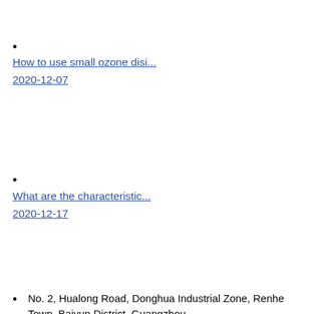How to use small ozone disi...
2020-12-07
What are the characteristic...
2020-12-17
No. 2, Hualong Road, Donghua Industrial Zone, Renhe Town, Baiyun District, Guangzhou
020-36556519
2355859234@qq.com
http://m.en.quanjuchouyang.com/